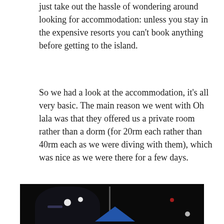just take out the hassle of wondering around looking for accommodation: unless you stay in the expensive resorts you can't book anything before getting to the island.
So we had a look at the accommodation, it's all very basic. The main reason we went with Oh lala was that they offered us a private room rather than a dorm (for 20rm each rather than 40rm each as we were diving with them), which was nice as we were there for a few days.
[Figure (photo): Night scene photo showing a person in the foreground, a blue tent, and lights in the dark background. Appears to be taken outdoors at night.]